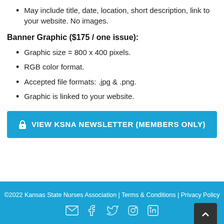May include title, date, location, short description, link to your website. No images.
Banner Graphic ($175 / one issue):
Graphic size = 800 x 400 pixels.
RGB color format.
Accepted file formats: .jpg & .png.
Graphic is linked to your website.
VIEW KSNA NEWSLETTER (MEMBERS ONLY)
©2022 Kansas State Nurses Association | Terms & Conditions | Privacy Policy